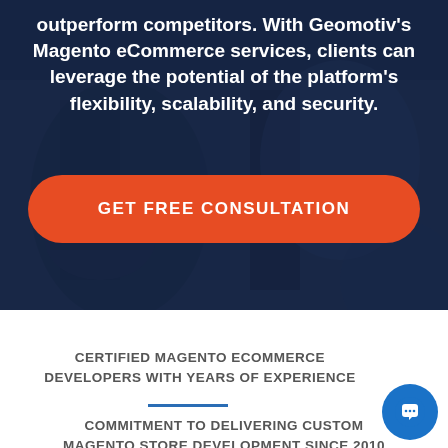[Figure (photo): Dark blue tinted background photo of street/urban scene with shopping cart, overlaid with semi-transparent dark blue overlay]
outperform competitors. With Geomotiv's Magento eCommerce services, clients can leverage the potential of the platform's flexibility, scalability, and security.
GET FREE CONSULTATION
CERTIFIED MAGENTO ECOMMERCE DEVELOPERS WITH YEARS OF EXPERIENCE
COMMITMENT TO DELIVERING CUSTOM MAGENTO STORE DEVELOPMENT SINCE 2010